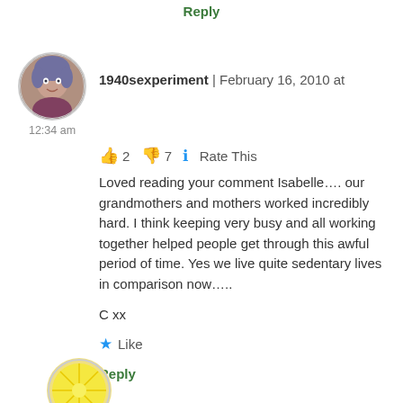Reply
1940sexperiment  |  February 16, 2010 at 12:34 am
👍 2  👎 7  ℹ️  Rate This
Loved reading your comment Isabelle…. our grandmothers and mothers worked incredibly hard. I think keeping very busy and all working together helped people get through this awful period of time. Yes we live quite sedentary lives in comparison now…..
C xx
★ Like
Reply